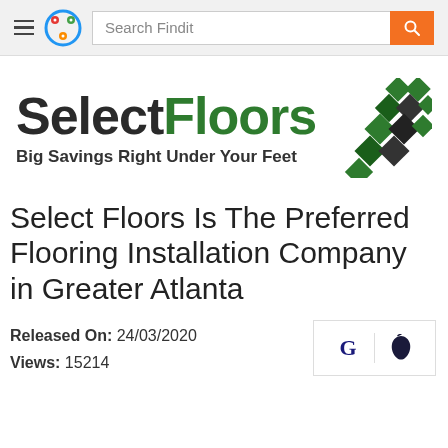Search Findit
[Figure (logo): SelectFloors logo with colorful circle icon, text 'SelectFloors' in dark and green bold, tagline 'Big Savings Right Under Your Feet', and a diamond/tile pattern graphic in green and black on the right]
Select Floors Is The Preferred Flooring Installation Company in Greater Atlanta
Released On: 24/03/2020
Views: 15214